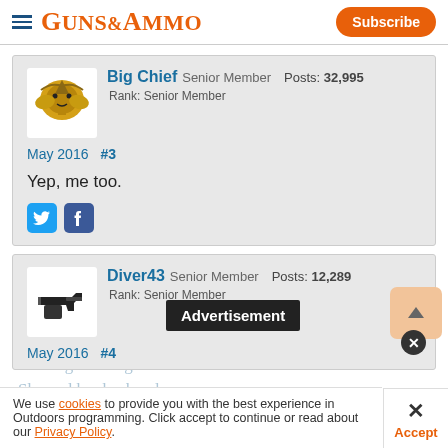GUNS&AMMO | Subscribe
Big Chief  Senior Member  Posts: 32,995
Rank: Senior Member
May 2016  #3
Yep, me too.
Diver43  Senior Member  Posts: 12,289
Rank: Senior Member
May 2016  #4
Advertisement
We use cookies to provide you with the best experience in Outdoors programming. Click accept to continue or read about our Privacy Policy.
Accept